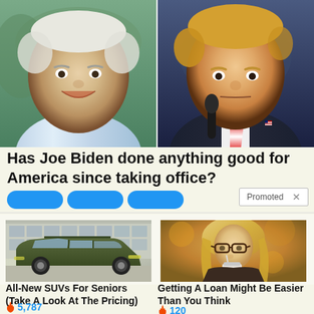[Figure (photo): Side-by-side photos of Joe Biden (left, smiling, wearing blue striped shirt outdoors) and Donald Trump (right, serious expression, in dark suit with red tie, holding microphone)]
Has Joe Biden done anything good for America since taking office?
Promoted X
[Figure (photo): All-New SUVs For Seniors advertisement showing a dark olive green SUV parked in front of a building with large windows]
All-New SUVs For Seniors (Take A Look At The Pricing)
🔥 5,787
[Figure (photo): Getting A Loan Might Be Easier Than You Think advertisement showing a blonde woman wearing glasses drinking from a cup outdoors]
Getting A Loan Might Be Easier Than You Think
🔥 120